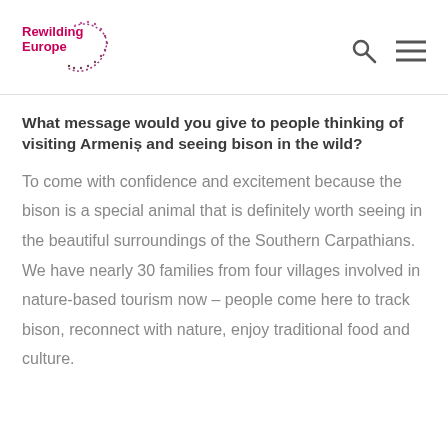Rewilding Europe — logo and navigation icons
What message would you give to people thinking of visiting Armeniș and seeing bison in the wild?
To come with confidence and excitement because the bison is a special animal that is definitely worth seeing in the beautiful surroundings of the Southern Carpathians. We have nearly 30 families from four villages involved in nature-based tourism now – people come here to track bison, reconnect with nature, enjoy traditional food and culture.